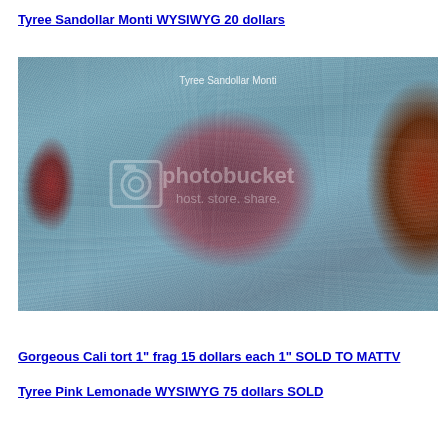Tyree Sandollar Monti WYSIWYG 20 dollars
[Figure (photo): Close-up underwater photo of a Tyree Sandollar Monti coral frag on sandy substrate. A reddish-brown disc-shaped coral sits in the center with red coral visible on left and right edges. Photobucket watermark overlay visible. Caption text 'Tyree Sandollar Monti' appears in upper center of image.]
Gorgeous Cali tort 1" frag 15 dollars each 1" SOLD TO MATTV
Tyree Pink Lemonade WYSIWYG 75 dollars SOLD